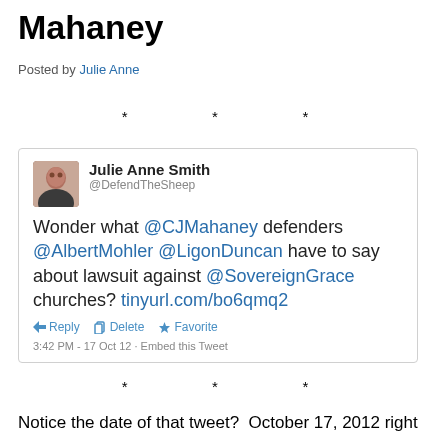Mahaney
Posted by Julie Anne
* * *
[Figure (screenshot): Embedded tweet by Julie Anne Smith (@DefendTheSheep): 'Wonder what @CJMahaney defenders @AlbertMohler @LigonDuncan have to say about lawsuit against @SovereignGrace churches? tinyurl.com/bo6qmq2' with Reply, Delete, Favorite actions and timestamp 3:42 PM - 17 Oct 12 - Embed this Tweet]
* * *
Notice the date of that tweet?  October 17, 2012 right